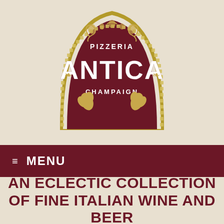[Figure (logo): Pizzeria Antica Champaign restaurant logo — dark maroon arched shield shape with mosaic tile border in gold/cream, decorative scroll ornaments at top, large white bold text 'ANTICA' in center, smaller text 'PIZZERIA' above and 'CHAMPAIGN' below, two golden wheat sprigs at bottom interior]
≡ MENU
AN ECLECTIC COLLECTION OF FINE ITALIAN WINE AND BEER